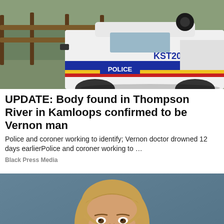[Figure (photo): RCMP police vehicle (KST206) parked near a wooden fence with vegetation in background]
UPDATE: Body found in Thompson River in Kamloops confirmed to be Vernon man
Police and coroner working to identify; Vernon doctor drowned 12 days earlierPolice and coroner working to …
Black Press Media
[Figure (photo): Portrait of a young woman with blonde hair pulled back, smiling, against a blue-grey background]